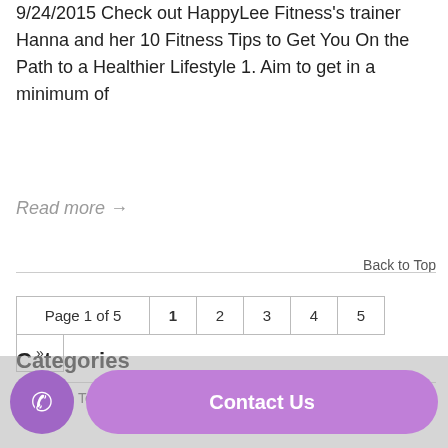9/24/2015 Check out HappyLee Fitness's trainer Hanna and her 10 Fitness Tips to Get You On the Path to a Healthier Lifestyle 1. Aim to get in a minimum of
Read more →
Back to Top
Page 1 of 5  1  2  3  4  5  »
Categories
→ Radio Testimonies (3)
Contact Us